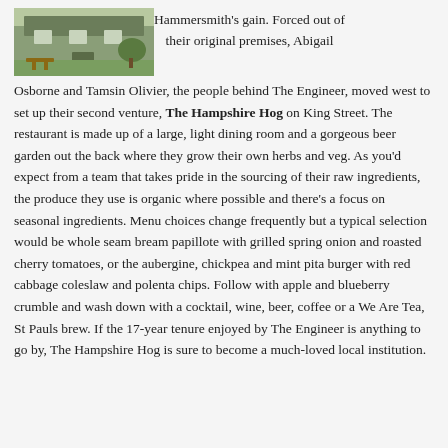[Figure (photo): Exterior photo of a building with green garden/lawn area in front, showing benches or outdoor seating]
Hammersmith's gain. Forced out of their original premises, Abigail Osborne and Tamsin Olivier, the people behind The Engineer, moved west to set up their second venture, The Hampshire Hog on King Street. The restaurant is made up of a large, light dining room and a gorgeous beer garden out the back where they grow their own herbs and veg. As you'd expect from a team that takes pride in the sourcing of their raw ingredients, the produce they use is organic where possible and there's a focus on seasonal ingredients. Menu choices change frequently but a typical selection would be whole seam bream papillote with grilled spring onion and roasted cherry tomatoes, or the aubergine, chickpea and mint pita burger with red cabbage coleslaw and polenta chips. Follow with apple and blueberry crumble and wash down with a cocktail, wine, beer, coffee or a We Are Tea, St Pauls brew. If the 17-year tenure enjoyed by The Engineer is anything to go by, The Hampshire Hog is sure to become a much-loved local institution.